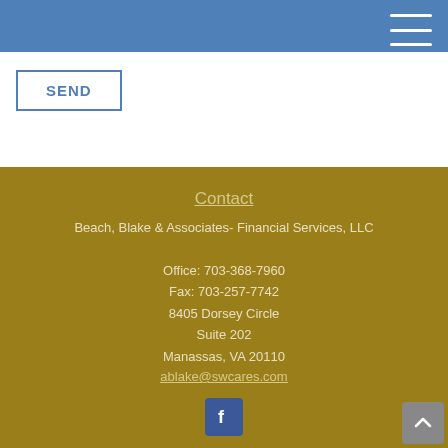SEND
Contact
Beach, Blake & Associates- Financial Services, LLC
Office: 703-368-7960
Fax: 703-257-7742
8405 Dorsey Circle
Suite 202
Manassas, VA 20110
ablake@swcares.com